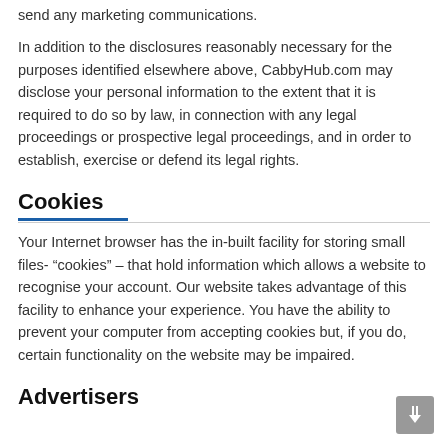send any marketing communications.
In addition to the disclosures reasonably necessary for the purposes identified elsewhere above, CabbyHub.com may disclose your personal information to the extent that it is required to do so by law, in connection with any legal proceedings or prospective legal proceedings, and in order to establish, exercise or defend its legal rights.
Cookies
Your Internet browser has the in-built facility for storing small files- “cookies” – that hold information which allows a website to recognise your account. Our website takes advantage of this facility to enhance your experience. You have the ability to prevent your computer from accepting cookies but, if you do, certain functionality on the website may be impaired.
Advertisers